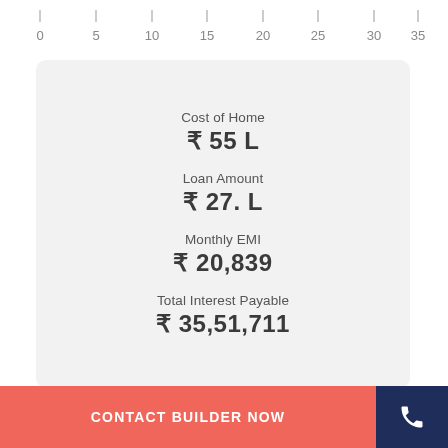[Figure (other): Horizontal axis with tick marks at 0, 5, 10, 15, 20, 25, 30, 35]
Cost of Home
₹ 55 L
Loan Amount
₹ 27. L
Monthly EMI
₹ 20,839
Total Interest Payable
₹ 35,51,711
CONTACT BUILDER NOW